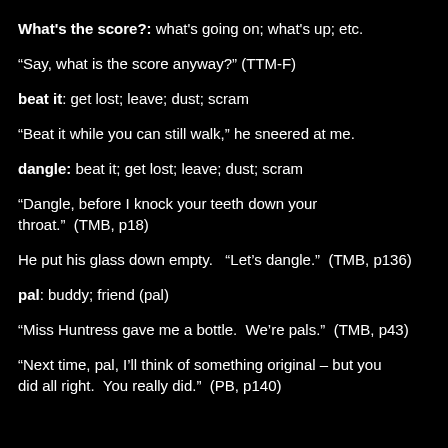What's the score?:  what's going on; what's up; etc.
“Say, what is the score anyway?” (TTM-F)
beat it:  get lost; leave; dust; scram
“Beat it while you can still walk,” he sneered at me.
dangle: beat it; get lost; leave; dust; scram
“Dangle, before I knock your teeth down your throat.”  (TMB, p18)
He put his glass down empty.   “Let’s dangle.”  (TMB, p136)
pal: buddy; friend (pal)
“Miss Huntress gave me a bottle.  We’re pals.”  (TMB, p43)
“Next time, pal, I’ll think of something original – but you did all right.  You really did.”  (PB, p140)